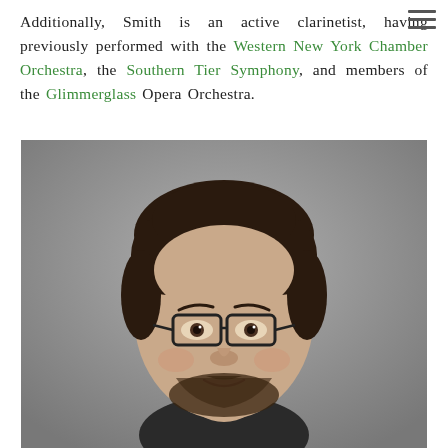Additionally, Smith is an active clarinetist, having previously performed with the Western New York Chamber Orchestra, the Southern Tier Symphony, and members of the Glimmerglass Opera Orchestra.
[Figure (photo): Headshot of a young man with dark hair, glasses, and a beard, smiling slightly against a grey background.]